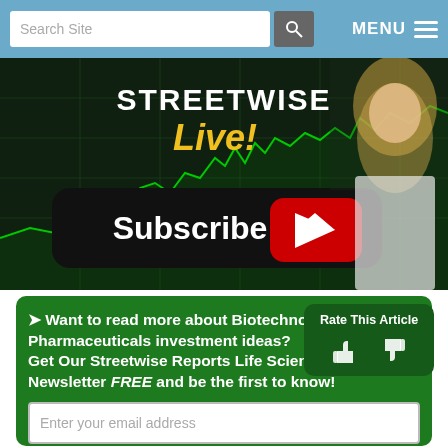Search Site   MENU
[Figure (screenshot): Streetwise Live YouTube subscribe banner with a blonde woman in white jacket, green stock chart background, and a black Subscribe button with YouTube play icon]
➤ Want to read more about Biotechnology / Pharmaceuticals investment ideas? Get Our Streetwise Reports Life Sciences Report Newsletter FREE and be the first to know!
Enter your email address
Sign Me Up
Rate This Article